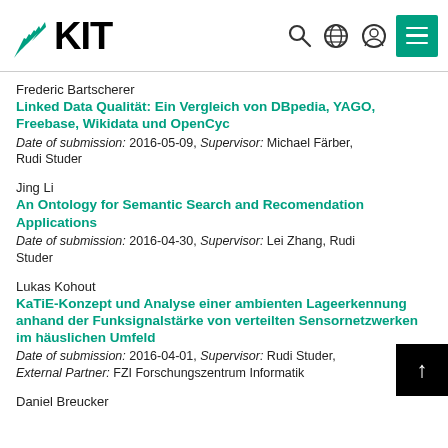[Figure (logo): KIT (Karlsruhe Institute of Technology) logo with teal fan/wedge graphic and bold KIT text, plus navigation icons (search, globe, person, menu)]
Frederic Bartscherer
Linked Data Qualität: Ein Vergleich von DBpedia, YAGO, Freebase, Wikidata und OpenCyc
Date of submission: 2016-05-09, Supervisor: Michael Färber, Rudi Studer
Jing Li
An Ontology for Semantic Search and Recomendation Applications
Date of submission: 2016-04-30, Supervisor: Lei Zhang, Rudi Studer
Lukas Kohout
KaTiE-Konzept und Analyse einer ambienten Lageerkennung anhand der Funksignalstärke von verteilten Sensornetzwerken im häuslichen Umfeld
Date of submission: 2016-04-01, Supervisor: Rudi Studer, External Partner: FZI Forschungszentrum Informatik
Daniel Breucker